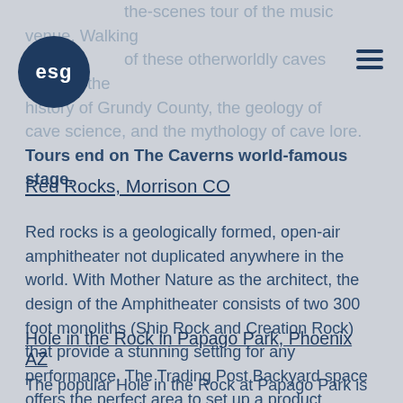the-scenes tour of the music venue. Walking through of these otherworldly caves entwine the rich history of Grundy County, the geology of cave science, and the mythology of cave lore. Tours end on The Caverns world-famous stage.
Red Rocks, Morrison CO
Red rocks is a geologically formed, open-air amphitheater not duplicated anywhere in the world. With Mother Nature as the architect, the design of the Amphitheater consists of two 300 foot monoliths (Ship Rock and Creation Rock) that provide a stunning setting for any performance. The Trading Post Backyard space offers the perfect area to set up a product display, A/V and catering with incredible views of the Red Rock formations.
Hole in the Rock in Papago Park, Phoenix AZ
The popular Hole in the Rock at Papago Park is